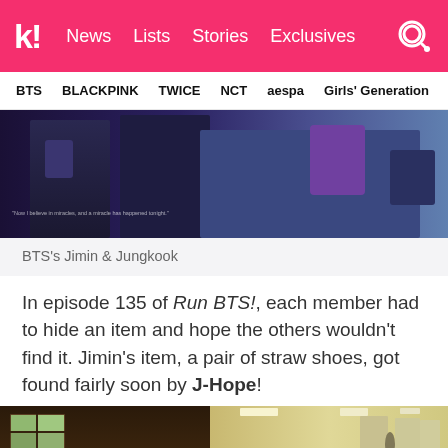kookie! News  Lists  Stories  Exclusives
BTS  BLACKPINK  TWICE  NCT  aespa  Girls' Generation
[Figure (photo): BTS members Jimin and Jungkook in a blue-lit scene, silhouettes visible with backpacks]
BTS's Jimin & Jungkook
In episode 135 of Run BTS!, each member had to hide an item and hope the others wouldn't find it. Jimin's item, a pair of straw shoes, got found fairly soon by J-Hope!
[Figure (photo): Interior hallway/corridor with brick walls on the left and a lit corridor on the right]